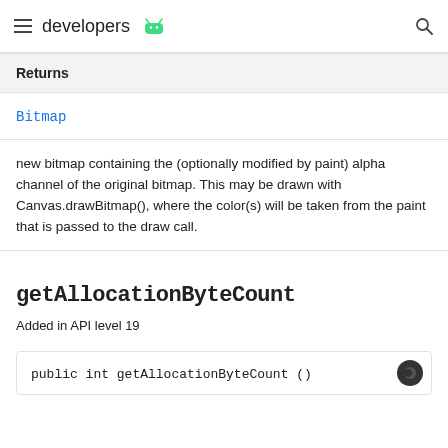developers
Returns
Bitmap
new bitmap containing the (optionally modified by paint) alpha channel of the original bitmap. This may be drawn with Canvas.drawBitmap(), where the color(s) will be taken from the paint that is passed to the draw call.
getAllocationByteCount
Added in API level 19
public int getAllocationByteCount ()